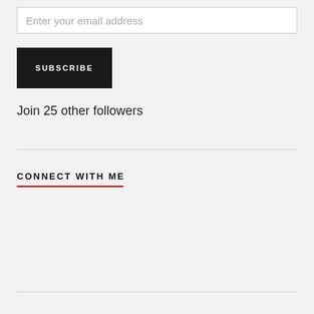Enter your email address
SUBSCRIBE
Join 25 other followers
CONNECT WITH ME